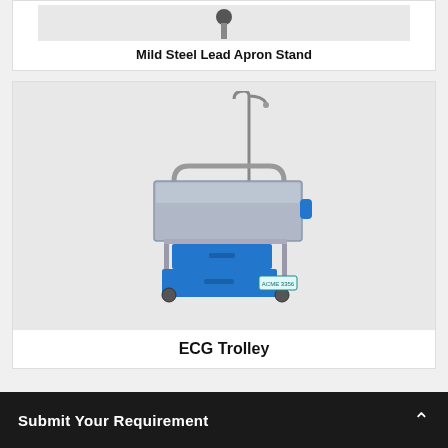[Figure (photo): Mild Steel Lead Apron Stand product image (partially visible at top)]
Mild Steel Lead Apron Stand
[Figure (photo): ECG Trolley — a medical trolley with a stainless steel frame, flat top surface, blue drawers at the bottom, an IV pole extending upward, and an ACME 3356 label on the side]
ECG Trolley
Submit Your Requirement